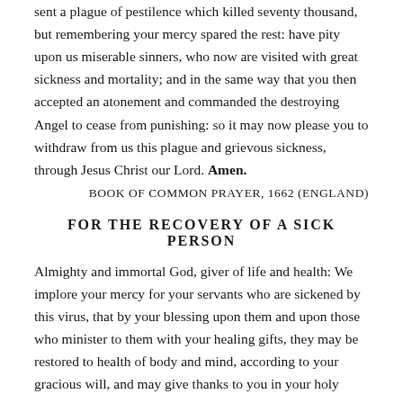sent a plague of pestilence which killed seventy thousand, but remembering your mercy spared the rest: have pity upon us miserable sinners, who now are visited with great sickness and mortality; and in the same way that you then accepted an atonement and commanded the destroying Angel to cease from punishing: so it may now please you to withdraw from us this plague and grievous sickness, through Jesus Christ our Lord. Amen.
BOOK OF COMMON PRAYER, 1662 (ENGLAND)
FOR THE RECOVERY OF A SICK PERSON
Almighty and immortal God, giver of life and health: We implore your mercy for your servants who are sickened by this virus, that by your blessing upon them and upon those who minister to them with your healing gifts, they may be restored to health of body and mind, according to your gracious will, and may give thanks to you in your holy Church; through